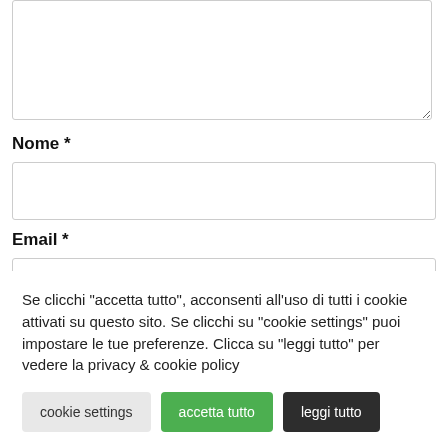[Figure (screenshot): A textarea input field (comment box) with a resize handle at bottom-right, partially cut off at the top]
Nome *
[Figure (screenshot): A text input field for Nome (name)]
Email *
[Figure (screenshot): A text input field for Email, partially cut off at bottom]
Se clicchi "accetta tutto", acconsenti all'uso di tutti i cookie attivati su questo sito. Se clicchi su "cookie settings" puoi impostare le tue preferenze. Clicca su "leggi tutto" per vedere la privacy & cookie policy
cookie settings
accetta tutto
leggi tutto